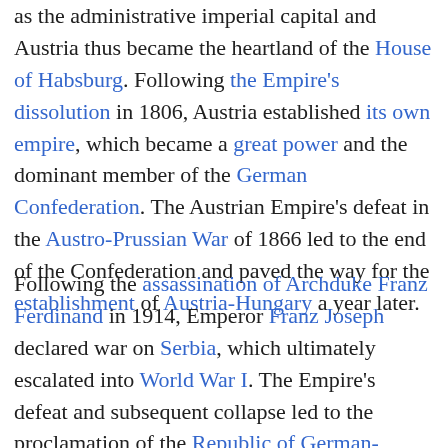as the administrative imperial capital and Austria thus became the heartland of the House of Habsburg. Following the Empire's dissolution in 1806, Austria established its own empire, which became a great power and the dominant member of the German Confederation. The Austrian Empire's defeat in the Austro-Prussian War of 1866 led to the end of the Confederation and paved the way for the establishment of Austria-Hungary a year later.
Following the assassination of Archduke Franz Ferdinand in 1914, Emperor Franz Joseph declared war on Serbia, which ultimately escalated into World War I. The Empire's defeat and subsequent collapse led to the proclamation of the Republic of German-Austria in 1918 and later the First Austrian Republic in 1919. During the interwar